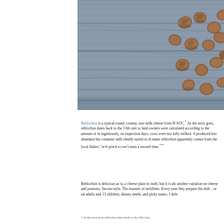[Figure (photo): Walnuts scattered on a weathered grey wooden surface, photographed from above]
Reblochon is a typical round, creamy, raw-milk cheese from H AOC.* As the story goes, reblochon dates back to the 13th cent to land owners were calculated according to the amount of m ingeniously, on inspection days, cows were not fully milked. A produced less abundant but creamier milk ideally suited to th name reblochon apparently comes from the local dialect "re-b pinch a cow's teats a second time.***
Reblochon is delicious as is, a cheese plate in itself, but it is als another variation on cheese and potatoes, Savoie-style. Tho masters of tartiflette. Every year they prepare the dish – or rat adults and 13 children, dietary needs, and picky eaters. I defe
* As the story goes reblochon dates back to the 13th cent...